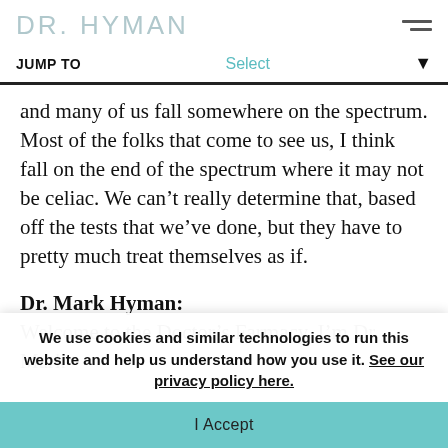DR. HYMAN
JUMP TO   Select
and many of us fall somewhere on the spectrum. Most of the folks that come to see us, I think fall on the end of the spectrum where it may not be celiac. We can't really determine that, based off the tests that we've done, but they have to pretty much treat themselves as if.
Dr. Mark Hyman:
Welcome to the Doctor's Farmacy. I'm Dr. Mark
We use cookies and similar technologies to run this website and help us understand how you use it. See our privacy policy here.
I Accept